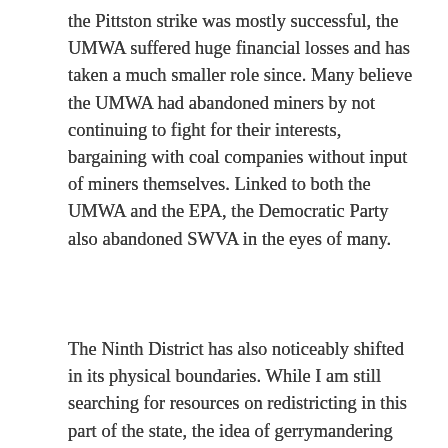the Pittston strike was mostly successful, the UMWA suffered huge financial losses and has taken a much smaller role since. Many believe the UMWA had abandoned miners by not continuing to fight for their interests, bargaining with coal companies without input of miners themselves. Linked to both the UMWA and the EPA, the Democratic Party also abandoned SWVA in the eyes of many.
The Ninth District has also noticeably shifted in its physical boundaries. While I am still searching for resources on redistricting in this part of the state, the idea of gerrymandering continues to arise. Whether or not it is a piece of the story is to be seen.
Forming these interrelated but not necessarily
[Figure (photo): A broken/missing image placeholder shown as a small icon with border]